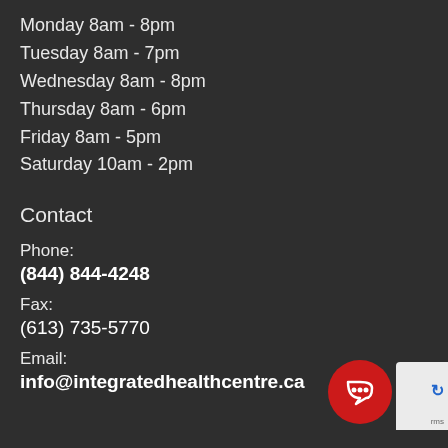Monday 8am - 8pm
Tuesday 8am - 7pm
Wednesday 8am - 8pm
Thursday 8am - 6pm
Friday 8am - 5pm
Saturday 10am - 2pm
Contact
Phone:
(844) 844-4248
Fax:
(613) 735-5770
Email:
info@integratedhealthcentre.ca
[Figure (other): Red circular chat button with speech bubble icon in bottom right corner]